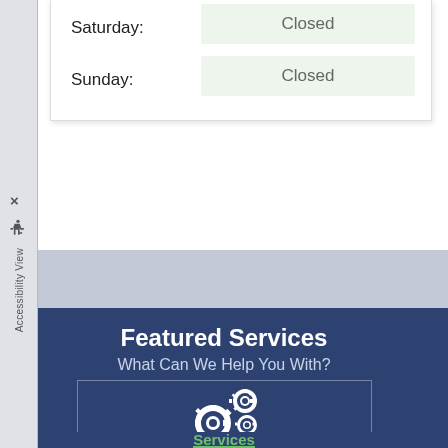| Day | Hours |
| --- | --- |
| Saturday: | Closed |
| Sunday: | Closed |
Featured Services
What Can We Help You With?
[Figure (illustration): Two white gear/cog icons representing services]
Services